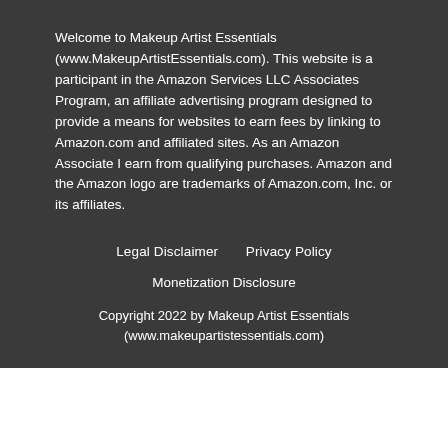Welcome to Makeup Artist Essentials (www.MakeupArtistEssentials.com). This website is a participant in the Amazon Services LLC Associates Program, an affiliate advertising program designed to provide a means for websites to earn fees by linking to Amazon.com and affiliated sites. As an Amazon Associate I earn from qualifying purchases. Amazon and the Amazon logo are trademarks of Amazon.com, Inc. or its affiliates.
Legal Disclaimer   Privacy Policy
Monetization Disclosure
Copyright 2022 by Makeup Artist Essentials (www.makeupartistessentials.com)